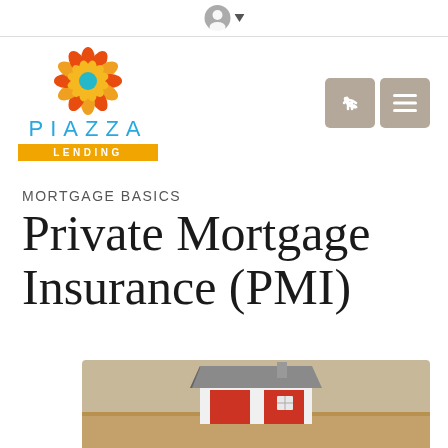[Figure (logo): Piazza Lending logo with flower graphic, blue PIAZZA text with letter spacing, and orange LENDING badge]
MORTGAGE BASICS
Private Mortgage Insurance (PMI)
[Figure (photo): Photo of a small model house with red walls and grey roof on a wooden surface, blurred background]